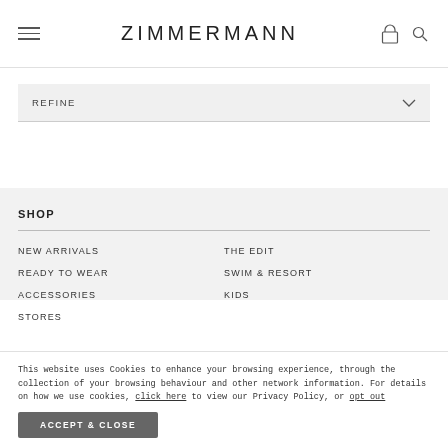ZIMMERMANN
REFINE
SHOP
NEW ARRIVALS
THE EDIT
READY TO WEAR
SWIM & RESORT
ACCESSORIES
KIDS
STORES
This website uses Cookies to enhance your browsing experience, through the collection of your browsing behaviour and other network information. For details on how we use cookies, click here to view our Privacy Policy, or opt out
ACCEPT & CLOSE